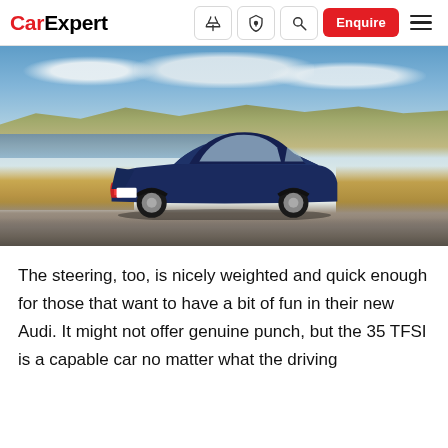CarExpert — navigation bar with logo, icons, Enquire button, and hamburger menu
[Figure (photo): A dark blue Audi sedan driving on a rural road with dry grass in the foreground, a lake and golden hills in the middle ground, and a partly cloudy sky in the background.]
The steering, too, is nicely weighted and quick enough for those that want to have a bit of fun in their new Audi. It might not offer genuine punch, but the 35 TFSI is a capable car no matter what the driving